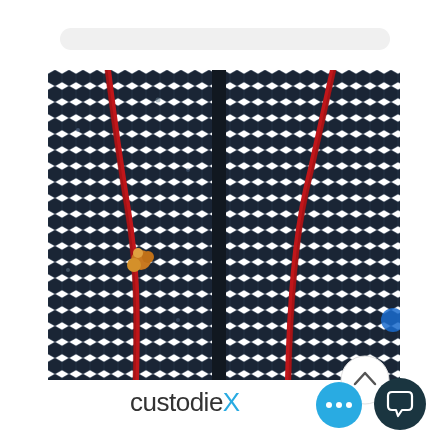[Figure (photo): Close-up photo of dark server rack mesh panels with red cables routed through the hexagonal perforated metal surface. Two panels are visible side by side, with red cables crossing diagonally across the mesh surface. A small orange/yellow connector is visible on the left panel. A blue element is partially visible at the right edge.]
[Figure (logo): CustodieX logo — lowercase text 'custodie' in dark gray followed by uppercase 'X' in cyan/light blue]
[Figure (other): Scroll-to-top button: circular white button with an upward chevron arrow inside]
[Figure (other): Blue circular chat dots button (three horizontal dots) and dark teal circular chat icon button with speech bubble symbol]